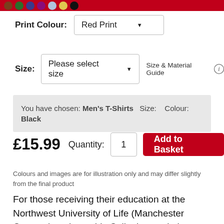[Figure (other): Color swatches row at top of page showing multiple circular color options]
Print Colour: Red Print
Size: Please select size  Size & Material Guide (i)
You have chosen: Men's T-Shirts  Size:   Colour: Black
£15.99  Quantity: 1  Add to Basket
Colours and images are for illustration only and may differ slightly from the final product
For those receiving their education at the Northwest University of Life (Manchester Campus) we have this Collegiate-style logo.